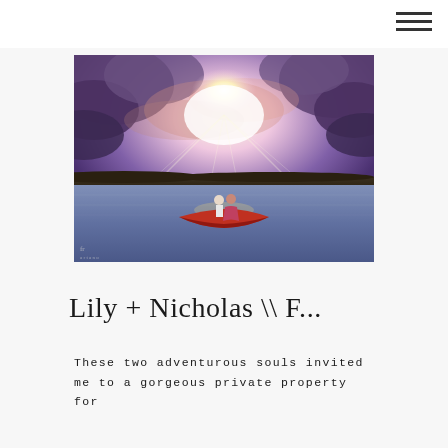[Figure (photo): A couple standing in a red canoe on a calm lake at sunset, with dramatic purple and golden clouds and sunbeams in the sky behind them.]
Lily + Nicholas \\ F...
These two adventurous souls invited me to a gorgeous private property for